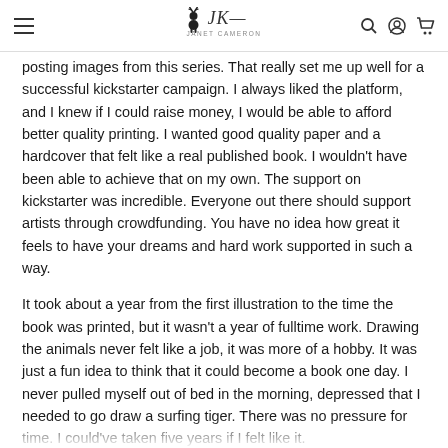[Navigation header with hamburger menu, deer logo with stylized text, and search/account/cart icons]
posting images from this series. That really set me up well for a successful kickstarter campaign. I always liked the platform, and I knew if I could raise money, I would be able to afford better quality printing. I wanted good quality paper and a hardcover that felt like a real published book. I wouldn't have been able to achieve that on my own. The support on kickstarter was incredible. Everyone out there should support artists through crowdfunding. You have no idea how great it feels to have your dreams and hard work supported in such a way.
It took about a year from the first illustration to the time the book was printed, but it wasn't a year of fulltime work. Drawing the animals never felt like a job, it was more of a hobby. It was just a fun idea to think that it could become a book one day. I never pulled myself out of bed in the morning, depressed that I needed to go draw a surfing tiger. There was no pressure for time. I could've taken five years if I felt like it.
Creating this thing was 100% fun. It was truly amazing how involved and supportive everyone was on Instagram, and it made me draw a lot more.